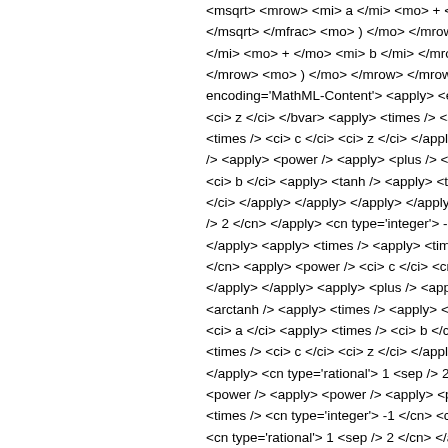<msqrt> <mrow> <mi> a </mi> <mo> + </mo> </msqrt> </mfrac> <mo> ) </mo> </mrow> </mi> <mo> + </mo> <mi> b </mi> </mrow> </mrow> <mo> ) </mo> </mrow> </mrow> < encoding='MathML-Content'> <apply> <eq /> <ci> z </ci> </bvar> <apply> <times /> <app <times /> <ci> c </ci> <ci> z </ci> </apply> /> <apply> <power /> <apply> <plus /> <ci> <ci> b </ci> <apply> <tanh /> <apply> <time </ci> </apply> </apply> </apply> </apply> < /> 2 </cn> </apply> <cn type='integer'> -1 </ </apply> <apply> <times /> <apply> <times </cn> <apply> <power /> <ci> c </ci> <cn ty </apply> </apply> <apply> <plus /> <apply> <arctanh /> <apply> <times /> <apply> <pow <ci> a </ci> <apply> <times /> <ci> b </ci> < <times /> <ci> c </ci> <ci> z </ci> </apply> </apply> <cn type='rational'> 1 <sep /> 2 </c <power /> <apply> <power /> <apply> <plus <times /> <cn type='integer'> -1 </cn> <ci> b <cn type='rational'> 1 <sep /> 2 </cn> </ap